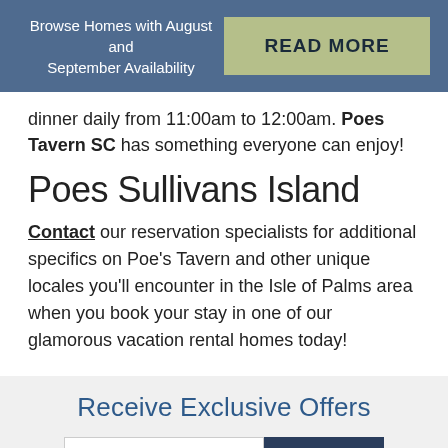Browse Homes with August and September Availability  READ MORE
dinner daily from 11:00am to 12:00am. Poes Tavern SC has something everyone can enjoy!
Poes Sullivans Island
Contact our reservation specialists for additional specifics on Poe's Tavern and other unique locales you'll encounter in the Isle of Palms area when you book your stay in one of our glamorous vacation rental homes today!
Receive Exclusive Offers
Email Address  SIGN UP